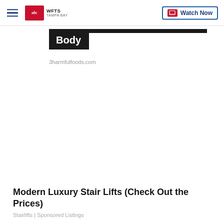WFTS TAMPA BAY | Watch Now
[Figure (screenshot): Partial image with black banner labeled 'Body' and source text '3harmfulfoods.com']
3harmfulfoods.com
Modern Luxury Stair Lifts (Check Out the Prices)
Stairlifts | Sponsored Listings